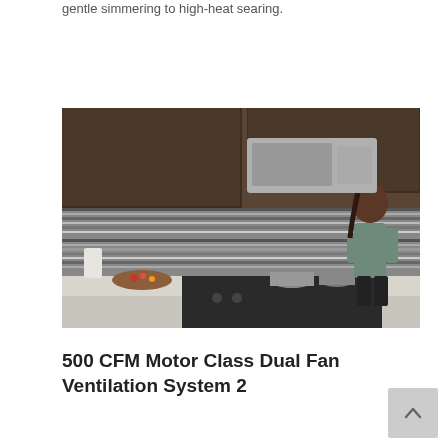gentle simmering to high-heat searing.
[Figure (photo): A woman cooking in a modern kitchen with dark wood cabinets, a mosaic tile backsplash, stainless steel appliances including an over-the-range microwave, and cooking pots on a stovetop. A knife block and cutting board with vegetables are visible on the counter.]
500 CFM Motor Class Dual Fan Ventilation System 2